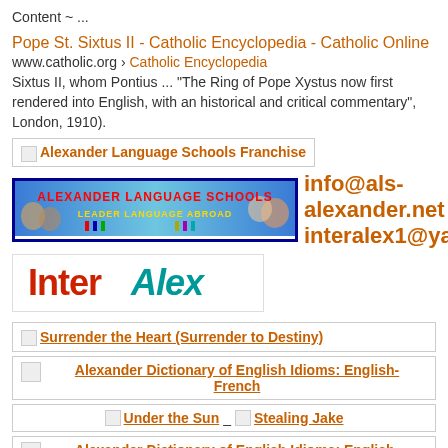Content ~ ...
Pope St. Sixtus II - Catholic Encyclopedia - Catholic Online
www.catholic.org › Catholic Encyclopedia
Sixtus II, whom Pontius ... "The Ring of Pope Xystus now first rendered into English, with an historical and critical commentary", London, 1910).
[Figure (screenshot): Ad box with small image placeholder and text: Alexander Language Schools Franchise]
[Figure (screenshot): Banner image for Alexander Language Schools with blue border, showing ALEXANDER LANGUAGE SCHOOLS LEADER LANGUAGE ABROAD. Contact info: info@als-alexander.net or interalex1@yahoo.com]
[Figure (logo): InterAlex logo in white box with border]
[Figure (screenshot): Ad result: small image placeholder and link: Surrender the Heart (Surrender to Destiny)]
[Figure (screenshot): Ad result with small image and centered link: Alexander Dictionary of English Idioms: English-French]
[Figure (screenshot): Row with two links: Under the Sun and Stealing Jake]
[Figure (screenshot): Ad result with small image and centered link: Alexander Dictionary of English Idioms: English-Swedish]